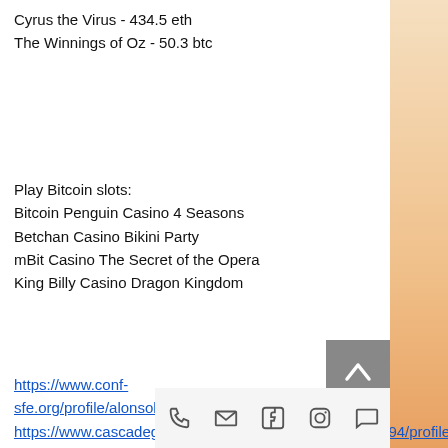Cyrus the Virus - 434.5 eth
The Winnings of Oz - 50.3 btc
Play Bitcoin slots:
Bitcoin Penguin Casino 4 Seasons
Betchan Casino Bikini Party
mBit Casino The Secret of the Opera
King Billy Casino Dragon Kingdom
https://www.conf-sfe.org/profile/alonsobellingtier13813210/profile
https://www.cascadegirl.org/profile/hildabievenue16286994/profile
https://www.kylelarsonfoundation.org/profile/domenicrujawitz19722616/profile
https://ko.theqms.org/profile/fridaferg6734562/profile
[Figure (other): Footer social media icons: phone, email, facebook, instagram, chat]